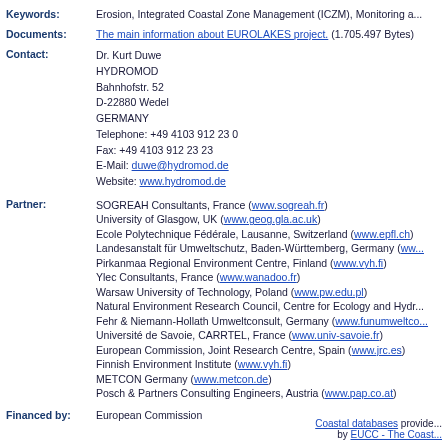Keywords: Erosion, Integrated Coastal Zone Management (ICZM), Monitoring a...
Documents: The main information about EUROLAKES project. (1.705.497 Bytes)
Contact: Dr. Kurt Duwe
HYDROMOD
Bahnhofstr. 52
D-22880 Wedel
GERMANY
Telephone: +49 4103 912 23 0
Fax: +49 4103 912 23 23
E-Mail: duwe@hydromod.de
Website: www.hydromod.de
Partner: SOGREAH Consultants, France (www.sogreah.fr)
University of Glasgow, UK (www.geog.gla.ac.uk)
Ecole Polytechnique Fédérale, Lausanne, Switzerland (www.epfl.ch)
Landesanstalt für Umweltschutz, Baden-Württemberg, Germany (www...)
Pirkanmaa Regional Environment Centre, Finland (www.vyh.fi)
Ylec Consultants, France (www.wanadoo.fr)
Warsaw University of Technology, Poland (www.pw.edu.pl)
Natural Environment Research Council, Centre for Ecology and Hydro...
Fehr & Niemann-Hollath Umweltconsult, Germany (www.funumweltco...)
Université de Savoie, CARRTEL, France (www.univ-savoie.fr)
European Commission, Joint Research Centre, Spain (www.jrc.es)
Finnish Environment Institute (www.vyh.fi)
METCON Germany (www.metcon.de)
Posch & Partners Consulting Engineers, Austria (www.pap.co.at)
Financed by: European Commission
Coastal databases provided by EUCC - The Coast...